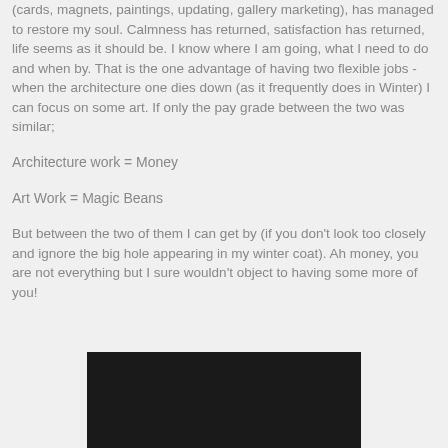(cards, magnets, paintings, updating, gallery marketing), has managed to restore my soul. Calmness has returned, satisfaction has returned, life seems as it should be. I know where I am going, what I need to do and when by. That is the one advantage of having two flexible jobs - when the architecture one dies down (as it frequently does in Winter) I can focus on some art. If only the pay grade between the two was similar;
Architecture work = Money
Art Work = Magic Beans
But between the two of them I can get by (if you don't look too closely and ignore the big hole appearing in my winter coat). Ah money, you are not everything but I sure wouldn't object to having some more of you!
[Figure (photo): A dark/black photograph partially visible at the bottom of the page]